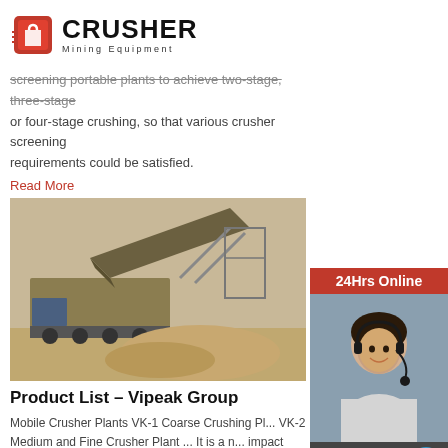CRUSHER Mining Equipment
screening portable plants to achieve two-stage, three-stage or four-stage crushing, so that various crusher screening requirements could be satisfied.
Read More
[Figure (photo): Portable crushing and screening plant on a construction/mining site]
Product List – Vipeak Group
Mobile Crusher Plants VK-1 Coarse Crushing Plant VK-2 Medium and Fine Crusher Plant ... It is a new type impact crusher adopts overall forging steel which the radial force of bearing pedestal obviously. R... PFT Reinforced Impact Crusher Capacity:70-40...
Read More
[Figure (photo): Industrial equipment partial view at bottom]
[Figure (infographic): 24Hrs Online support sidebar with operator photo, chat now button, enquiry, and email limingjlmofen@sina.com]